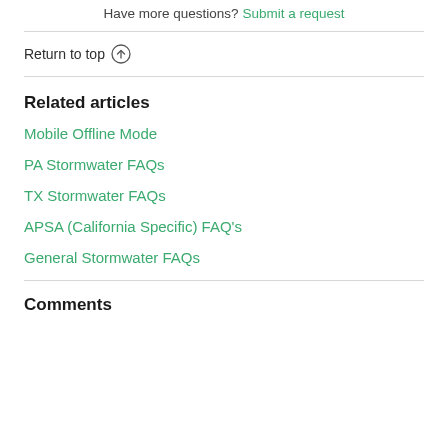Have more questions? Submit a request
Return to top ↑
Related articles
Mobile Offline Mode
PA Stormwater FAQs
TX Stormwater FAQs
APSA (California Specific) FAQ's
General Stormwater FAQs
Comments